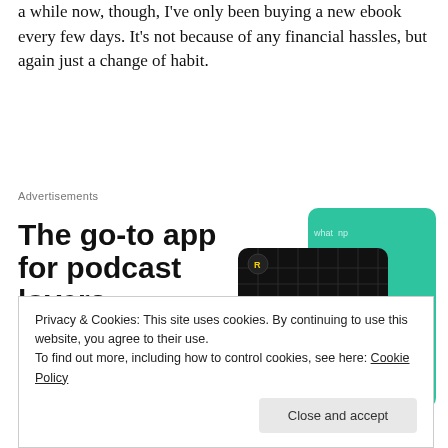a while now, though, I've only been buying a new ebook every few days. It's not because of any financial hassles, but again just a change of habit.
[Figure (screenshot): Advertisement for a podcast app. Headline reads 'The go-to app for podcast lovers.' with a red 'Download now' call-to-action link. On the right side there are overlapping app cards including a black card with '99% INVISIBLE' text and a yellow square, a green card, and a blue card partially visible.]
Privacy & Cookies: This site uses cookies. By continuing to use this website, you agree to their use.
To find out more, including how to control cookies, see here: Cookie Policy